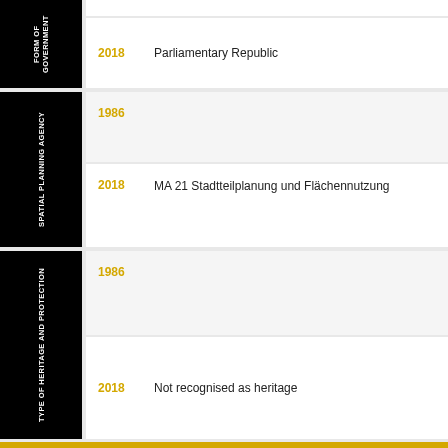FORM OF GOVERNMENT
2018 — Parliamentary Republic
SPATIAL PLANNING AGENCY
1986
2018 — MA 21 Stadtteilplanung und Flächennutzung
TYPE OF HERITAGE AND PROTECTION
1986
2018 — Not recognised as heritage